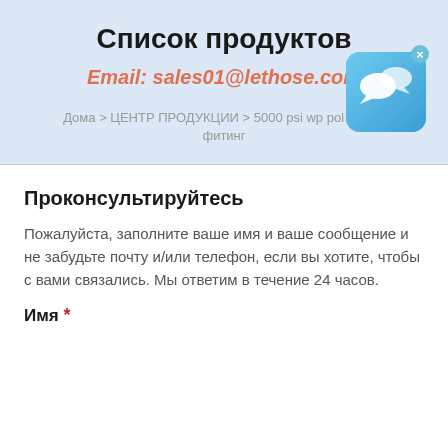Список продуктов
Email: sales01@lethose.com
Дома > ЦЕНТР ПРОДУКЦИИ > 5000 psi wp pol шланг фитинг
[Figure (screenshot): Chat app icon, blue with speech bubble, with close X button]
Проконсультируйтесь
Пожалуйста, заполните ваше имя и ваше сообщение и не забудьте почту и/или телефон, если вы хотите, чтобы с вами связались. Мы ответим в течение 24 часов.
Имя *